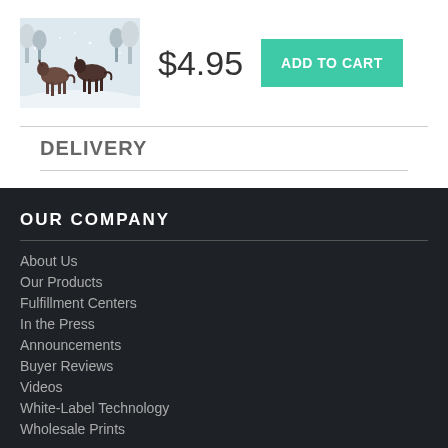[Figure (photo): Photo of horses running in snow]
$4.95
ADD TO CART
DELIVERY
All greeting cards ship from our production facility within 2 - 3 business days of your order.
OUR COMPANY
About Us
Our Products
Fulfillment Centers
In the Press
Announcements
Buyer Reviews
Videos
White-Label Technology
Wholesale Prints